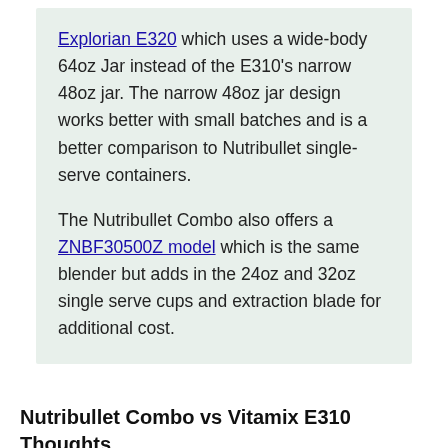Explorian E320 which uses a wide-body 64oz Jar instead of the E310's narrow 48oz jar. The narrow 48oz jar design works better with small batches and is a better comparison to Nutribullet single-serve containers.

The Nutribullet Combo also offers a ZNBF30500Z model which is the same blender but adds in the 24oz and 32oz single serve cups and extraction blade for additional cost.
Nutribullet Combo vs Vitamix E310 Thoughts